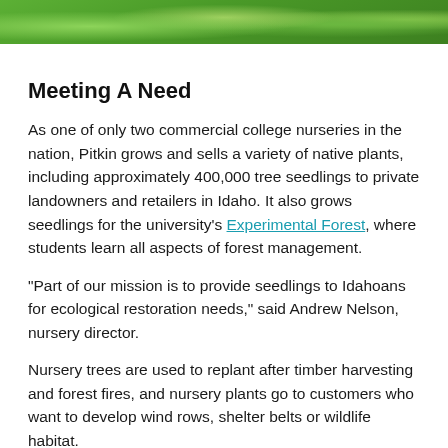[Figure (photo): Photo of green tree foliage/leaves, partial view at top of page]
Meeting A Need
As one of only two commercial college nurseries in the nation, Pitkin grows and sells a variety of native plants, including approximately 400,000 tree seedlings to private landowners and retailers in Idaho. It also grows seedlings for the university's Experimental Forest, where students learn all aspects of forest management.
“Part of our mission is to provide seedlings to Idahoans for ecological restoration needs,” said Andrew Nelson, nursery director.
Nursery trees are used to replant after timber harvesting and forest fires, and nursery plants go to customers who want to develop wind rows, shelter belts or wildlife habitat.